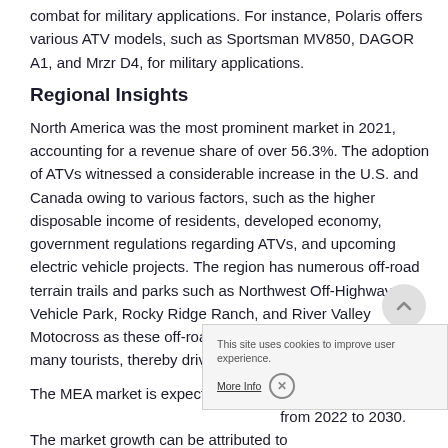combat for military applications. For instance, Polaris offers various ATV models, such as Sportsman MV850, DAGOR A1, and Mrzr D4, for military applications.
Regional Insights
North America was the most prominent market in 2021, accounting for a revenue share of over 56.3%. The adoption of ATVs witnessed a considerable increase in the U.S. and Canada owing to various factors, such as the higher disposable income of residents, developed economy, government regulations regarding ATVs, and upcoming electric vehicle projects. The region has numerous off-road terrain trails and parks such as Northwest Off-Highway Vehicle Park, Rocky Ridge Ranch, and River Valley Motocross as these off-road terrain trails and parks attract many tourists, thereby driving the growth of the market.
The MEA market is expected from 2022 to 2030. The market growth can be attributed to